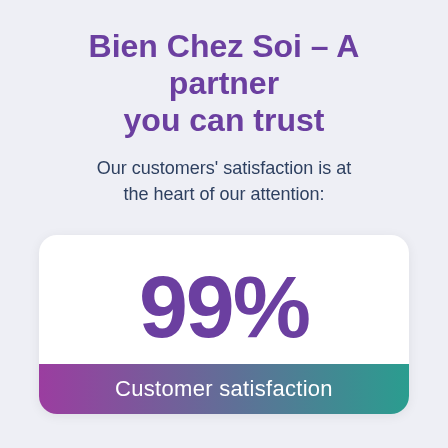Bien Chez Soi – A partner you can trust
Our customers' satisfaction is at the heart of our attention:
[Figure (infographic): White rounded card showing '99%' in large purple text above a gradient bar labeled 'Customer satisfaction']